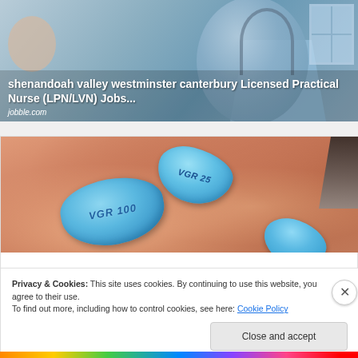[Figure (photo): A nurse or medical professional in blue scrubs with a stethoscope, attending to a patient. Overlaid text describes a job listing.]
shenandoah valley westminster canterbury Licensed Practical Nurse (LPN/LVN) Jobs...
jobble.com
[Figure (photo): Close-up photo of blue Viagra pills (VGR 100 and VGR 25) held in a person's hand.]
Privacy & Cookies: This site uses cookies. By continuing to use this website, you agree to their use.
To find out more, including how to control cookies, see here: Cookie Policy
Close and accept